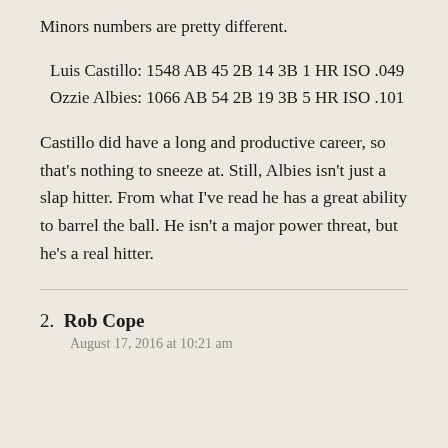Minors numbers are pretty different.
Luis Castillo: 1548 AB 45 2B 14 3B 1 HR ISO .049
Ozzie Albies: 1066 AB 54 2B 19 3B 5 HR ISO .101
Castillo did have a long and productive career, so that's nothing to sneeze at. Still, Albies isn't just a slap hitter. From what I've read he has a great ability to barrel the ball. He isn't a major power threat, but he's a real hitter.
2. Rob Cope
August 17, 2016 at 10:21 am